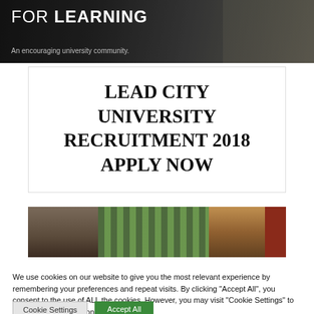[Figure (photo): University banner with text 'FOR LEARNING' and subtitle 'An encouraging university community.' overlaid on a dark campus background photo.]
LEAD CITY UNIVERSITY RECRUITMENT 2018 APPLY NOW
[Figure (photo): Photo of two men in formal attire against a striped green background, one wearing a cap.]
We use cookies on our website to give you the most relevant experience by remembering your preferences and repeat visits. By clicking "Accept All", you consent to the use of ALL the cookies. However, you may visit "Cookie Settings" to provide a controlled consent.
Cookie Settings
Accept All